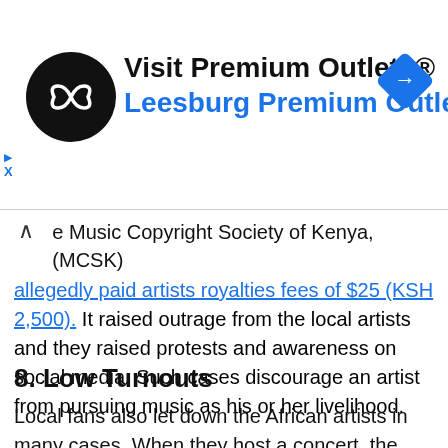[Figure (logo): Advertisement banner for Visit Premium Outlets / Leesburg Premium Outlets with circular logo and blue diamond navigation icon]
e Music Copyright Society of Kenya, (MCSK) allegedly paid artists royalties fees of $25 (KSH 2,500). It raised outrage from the local artists and they raised protests and awareness on social media. Such cases discourage an artist from pursuing music as his or her livelihood.
8. Low Turnouts
Local fans also let down the African artists in many cases. When they host a concert, the turnout is usually low as compared to when a foreign artist holds a concert in Africa. These low numbers will